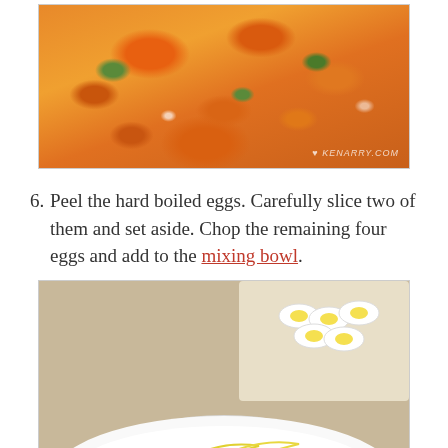[Figure (photo): Close-up photo of sliced carrots and other vegetables (green peppers, onions) on a cutting board or pan, with a KENARRY.COM watermark]
6. Peel the hard boiled eggs. Carefully slice two of them and set aside. Chop the remaining four eggs and add to the mixing bowl.
[Figure (photo): Photo showing a white mixing bowl with egg yolk streaks and chopped ingredients at the bottom, with sliced hard boiled eggs visible in the background on a cutting board]
[Figure (photo): Partial photo at the bottom of the page showing a white creamy mixture, likely the beginning of the next step]